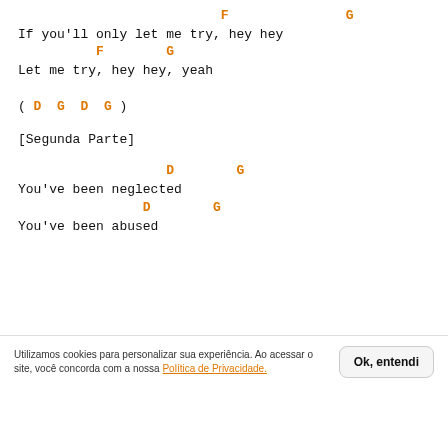F                G
If you'll only let me try, hey hey
F        G
Let me try, hey hey, yeah
( D  G  D  G )
[Segunda Parte]
D        G
You've been neglected
D        G
You've been abused
Utilizamos cookies para personalizar sua experiência. Ao acessar o site, você concorda com a nossa Política de Privacidade.
Ok, entendi